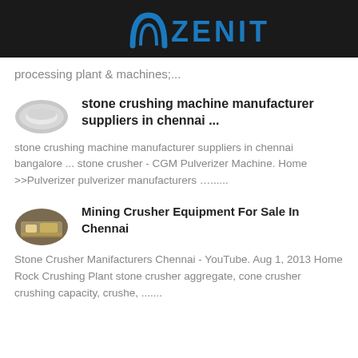[Figure (logo): Zenit logo with blue arch icon and blue ZENIT text on dark background]
processing plant & machines;...
[Figure (photo): Small oval thumbnail image of stone crushing machine]
stone crushing machine manufacturer suppliers in chennai ...
stone crushing machine manufacturer suppliers in chennai bangalore ... stone crusher - CGM Pulverizer Machine. Home >>Pulverizer pulverizer manufacturers …...
[Figure (photo): Small oval thumbnail image of mining crusher equipment]
Mining Crusher Equipment For Sale In Chennai
Stone Crusher Manifacturers Chennai - YouTube. Aug 1, 2013 Home Rock Crushing Plant stone crusher aggregate, cone crusher crushing capacity, crushe, .......